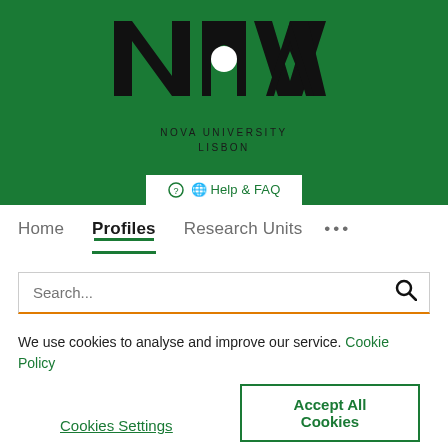[Figure (logo): NOVA University Lisbon logo with green background, Help & FAQ button]
Home
Profiles
Research Units
...
Search...
We use cookies to analyse and improve our service. Cookie Policy
Cookies Settings
Accept All Cookies